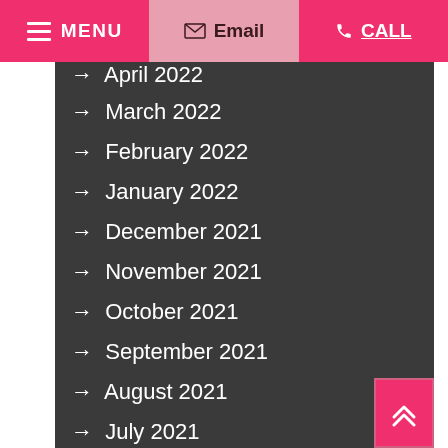MENU | Email | CALL
April 2022
March 2022
February 2022
January 2022
December 2021
November 2021
October 2021
September 2021
August 2021
July 2021
June 2021